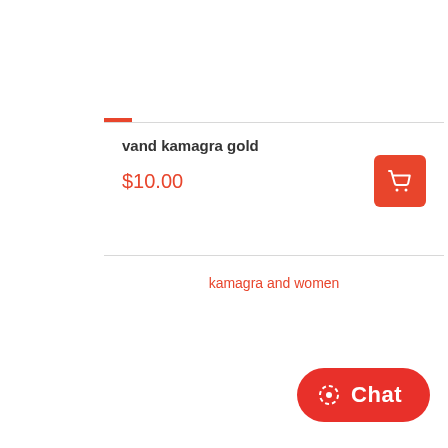vand kamagra gold
$10.00
kamagra and women
Chat